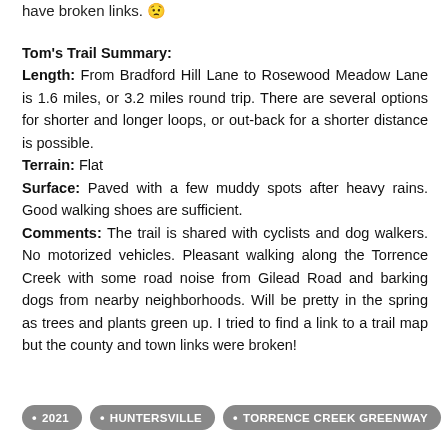have broken links. 😟
Tom's Trail Summary:
Length: From Bradford Hill Lane to Rosewood Meadow Lane is 1.6 miles, or 3.2 miles round trip.  There are several options for shorter and longer loops, or out-back for a shorter distance is possible.
Terrain: Flat
Surface: Paved with a few muddy spots after heavy rains. Good walking shoes are sufficient.
Comments: The trail is shared with cyclists and dog walkers. No motorized vehicles.  Pleasant walking along the Torrence Creek with some road noise from Gilead Road and barking dogs from nearby neighborhoods.  Will be pretty in the spring as trees and plants green up.  I tried to find a link to a trail map but the county and town links were broken!
2021   HUNTERSVILLE   TORRENCE CREEK GREENWAY